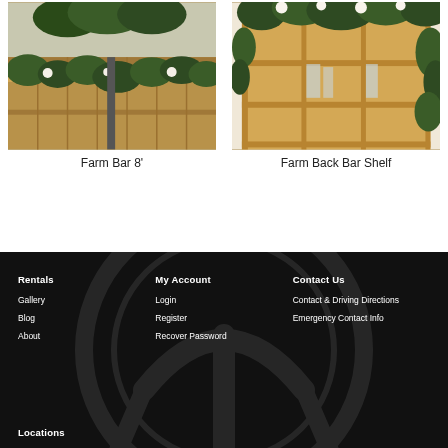[Figure (photo): Photo of a Farm Bar 8' with floral garland decoration and wooden fence background]
Farm Bar 8'
[Figure (photo): Photo of a Farm Back Bar Shelf with white floral and greenery decorations on a wooden shelving unit]
Farm Back Bar Shelf
Rentals
Gallery
Blog
About
My Account
Login
Register
Recover Password
Contact Us
Contact & Driving Directions
Emergency Contact Info
Locations